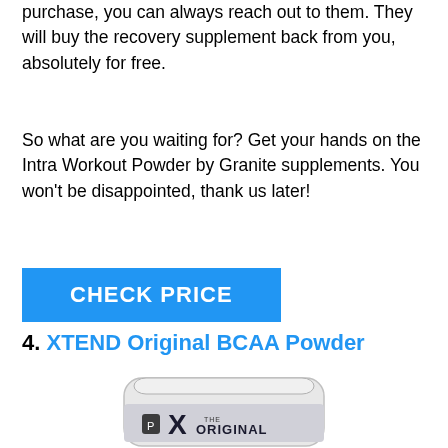purchase, you can always reach out to them. They will buy the recovery supplement back from you, absolutely for free.
So what are you waiting for? Get your hands on the Intra Workout Powder by Granite supplements. You won't be disappointed, thank us later!
CHECK PRICE
4. XTEND Original BCAA Powder
[Figure (photo): Product photo of XTEND Original BCAA Powder container, silver/white cylindrical tub with black X logo and 'THE ORIGINAL' text visible]